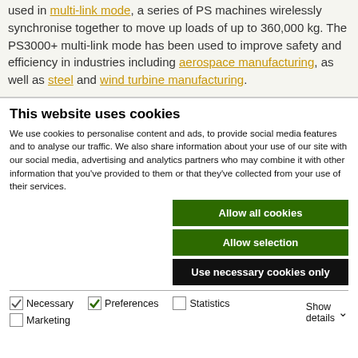used in multi-link mode, a series of PS machines wirelessly synchronise together to move up loads of up to 360,000 kg. The PS3000+ multi-link mode has been used to improve safety and efficiency in industries including aerospace manufacturing, as well as steel and wind turbine manufacturing.
This website uses cookies
We use cookies to personalise content and ads, to provide social media features and to analyse our traffic. We also share information about your use of our site with our social media, advertising and analytics partners who may combine it with other information that you've provided to them or that they've collected from your use of their services.
Allow all cookies
Allow selection
Use necessary cookies only
Necessary  Preferences  Statistics  Marketing  Show details